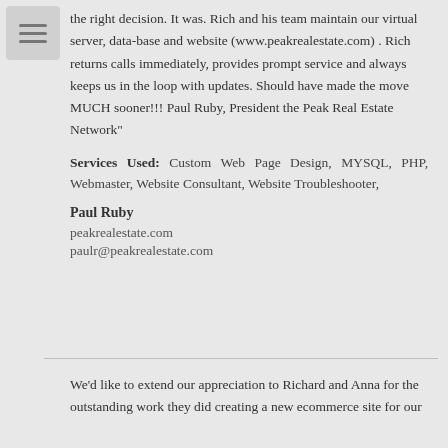We switched to The Computer Geek over 8 months ago hoping the right decision. It was. Rich and his team maintain our virtual server, data-base and website (www.peakrealestate.com) . Rich returns calls immediately, provides prompt service and always keeps us in the loop with updates. Should have made the move MUCH sooner!!! Paul Ruby, President the Peak Real Estate Network"
Services Used: Custom Web Page Design, MYSQL, PHP, Webmaster, Website Consultant, Website Troubleshooter,
Paul Ruby
peakrealestate.com
paulr@peakrealestate.com
We'd like to extend our appreciation to Richard and Anna for the outstanding work they did creating a new ecommerce site for our